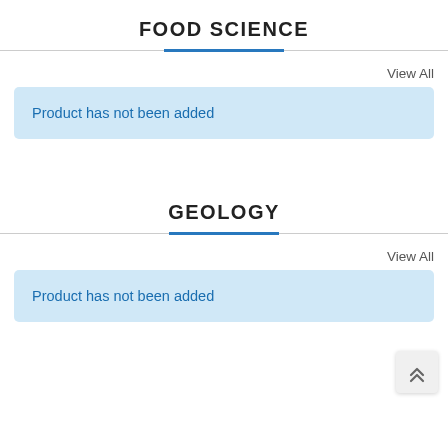FOOD SCIENCE
View All
Product has not been added
GEOLOGY
View All
Product has not been added